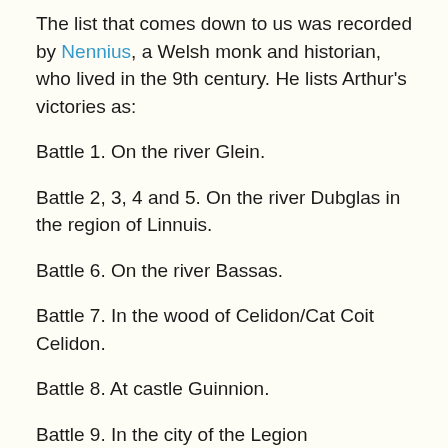The list that comes down to us was recorded by Nennius, a Welsh monk and historian, who lived in the 9th century. He lists Arthur's victories as:
Battle 1. On the river Glein.
Battle 2, 3, 4 and 5. On the river Dubglas in the region of Linnuis.
Battle 6. On the river Bassas.
Battle 7. In the wood of Celidon/Cat Coit Celidon.
Battle 8. At castle Guinnion.
Battle 9. In the city of the Legion
Battle 10. On the river Tribruit